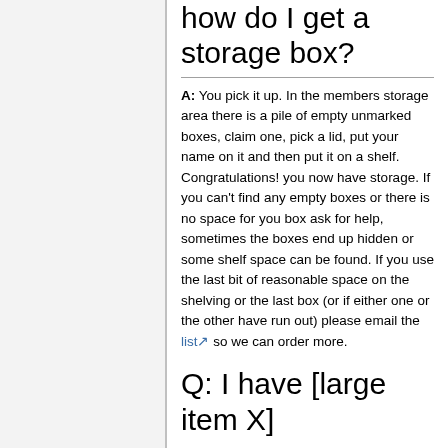how do I get a storage box?
A: You pick it up. In the members storage area there is a pile of empty unmarked boxes, claim one, pick a lid, put your name on it and then put it on a shelf. Congratulations! you now have storage. If you can't find any empty boxes or there is no space for you box ask for help, sometimes the boxes end up hidden or some shelf space can be found. If you use the last bit of reasonable space on the shelving or the last box (or if either one or the other have run out) please email the list so we can order more.
Q: I have [large item X]